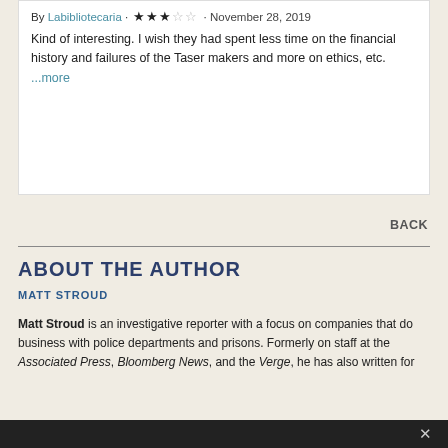By Labibliotecaria · ★★★☆☆ · November 28, 2019
Kind of interesting. I wish they had spent less time on the financial history and failures of the Taser makers and more on ethics, etc. ...more
BACK
ABOUT THE AUTHOR
MATT STROUD
Matt Stroud is an investigative reporter with a focus on companies that do business with police departments and prisons. Formerly on staff at the Associated Press, Bloomberg News, and the Verge, he has also written for